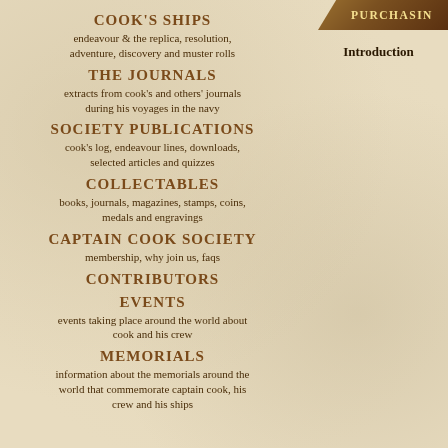COOK'S SHIPS
endeavour & the replica, resolution, adventure, discovery and muster rolls
THE JOURNALS
extracts from cook's and others' journals during his voyages in the navy
SOCIETY PUBLICATIONS
cook's log, endeavour lines, downloads, selected articles and quizzes
COLLECTABLES
books, journals, magazines, stamps, coins, medals and engravings
CAPTAIN COOK SOCIETY
membership, why join us, faqs
CONTRIBUTORS
EVENTS
events taking place around the world about cook and his crew
MEMORIALS
information about the memorials around the world that commemorate captain cook, his crew and his ships
PURCHASING
Introduction